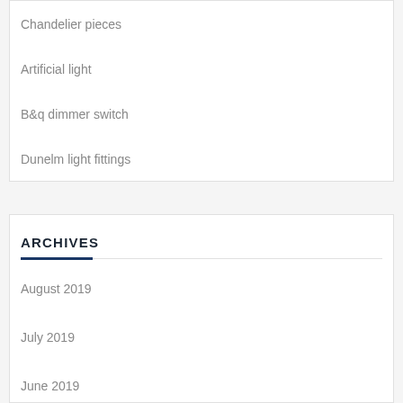Chandelier pieces
Artificial light
B&q dimmer switch
Dunelm light fittings
ARCHIVES
August 2019
July 2019
June 2019